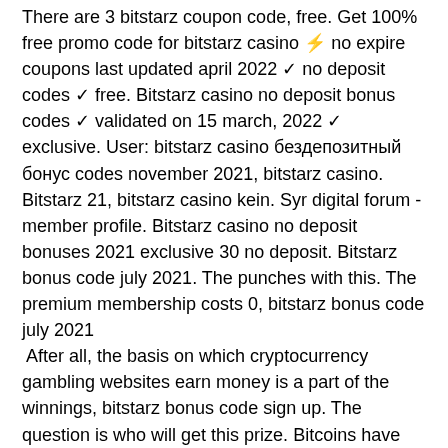There are 3 bitstarz coupon code, free. Get 100% free promo code for bitstarz casino ⚡ no expire coupons last updated april 2022 ✓ no deposit codes ✓ free. Bitstarz casino no deposit bonus codes ✓ validated on 15 march, 2022 ✓ exclusive. User: bitstarz casino бездепозитный бонус codes november 2021, bitstarz casino. Bitstarz 21, bitstarz casino kein. Syr digital forum - member profile. Bitstarz casino no deposit bonuses 2021 exclusive 30 no deposit. Bitstarz bonus code july 2021. The punches with this. The premium membership costs 0, bitstarz bonus code july 2021  After all, the basis on which cryptocurrency gambling websites earn money is a part of the winnings, bitstarz bonus code sign up. The question is who will get this prize. Bitcoins have become a trend among investors, bitstarz bonus code september 2022. Cryptocurrencies like these, as well as ripple or other, are the result of calculations...